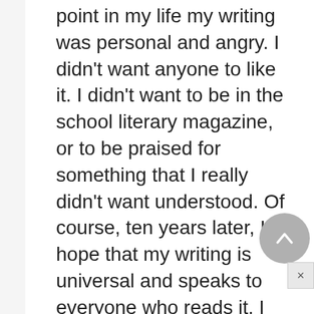point in my life my writing was personal and angry. I didn't want anyone to like it. I didn't want to be in the school literary magazine, or to be praised for something that I really didn't want understood. Of course, ten years later, I hope that my writing is universal and speaks to everyone who reads it. I still have the necklace, though."
Many of Johnson's books for children feature young black protagonists narrating events that are common to